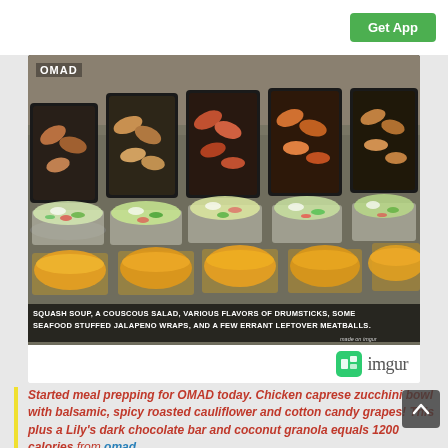[Figure (screenshot): Imgur app page showing 'Get App' button at top right on white bar]
[Figure (photo): Photo of meal-prepped food on a steel counter: rows of black trays with chicken drumsticks in various flavors, clear cups with couscous salad, and round cups of squash soup. Label 'OMAD' in top left. Caption overlay reads: 'SQUASH SOUP, A COUSCOUS SALAD, VARIOUS FLAVORS OF DRUMSTICKS, SOME SEAFOOD STUFFED JALAPENO WRAPS, AND A FEW ERRANT LEFTOVER MEATBALLS.' 'made on imgur' in bottom right.]
[Figure (logo): imgur logo with green icon and gray text 'imgur']
Started meal prepping for OMAD today. Chicken caprese zucchini bowl with balsamic, spicy roasted cauliflower and cotton candy grapes! This plus a Lily's dark chocolate bar and coconut granola equals 1200 calories from omad